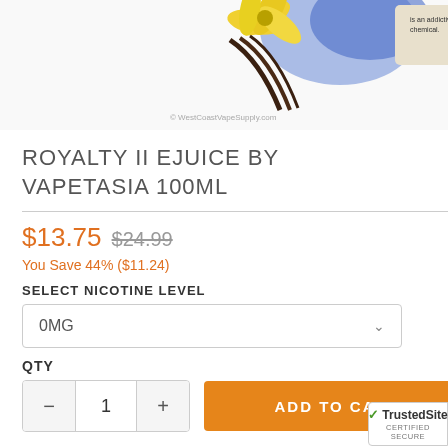[Figure (photo): Product image of Royalty II eJuice by Vapetasia 100ml showing vanilla flowers and bottle with warning label. Copyright WestCoastVapeSupply.com.]
ROYALTY II EJUICE BY VAPETASIA 100ML
$13.75 $24.99
You Save 44% ($11.24)
SELECT NICOTINE LEVEL
0MG
QTY
ADD TO CART
[Figure (logo): TrustedSite CERTIFIED SECURE badge]